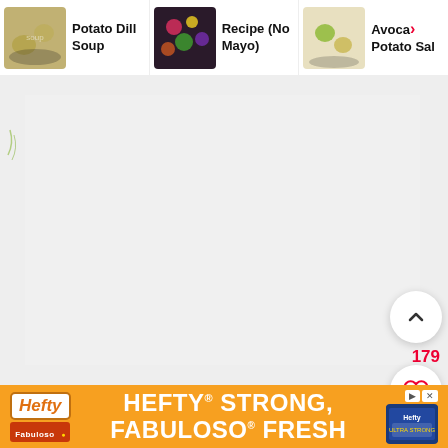[Figure (screenshot): Navigation bar with three recipe thumbnails: 'Potato Dill Soup', 'Recipe (No Mayo)', and 'Avocado Potato Sal...' with a red arrow indicating more]
[Figure (photo): Main food photo: overhead view of baby potatoes in a dark bowl topped with fresh dill, chopped green onions, and seasoning. UI overlay includes up-arrow button, heart/save button showing count 179, and red search button.]
[Figure (screenshot): Advertisement banner for Hefty brand: orange background with 'HEFTY STRONG, FABULOSO FRESH' text, Hefty logo, Fabuloso logo, and product image.]